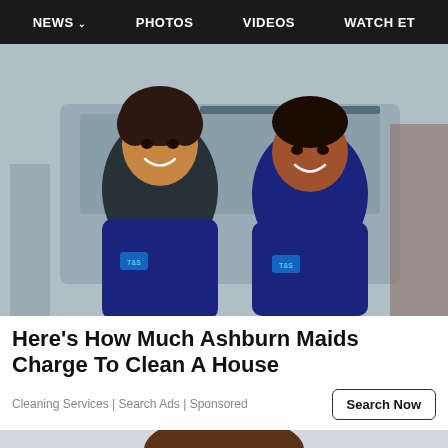NEWS   PHOTOS   VIDEOS   WATCH ET
[Figure (photo): Two women in navy blue uniforms standing in front of a vehicle, smiling at the camera. Both wear matching dark polo shirts with a logo patch.]
Here's How Much Ashburn Maids Charge To Clean A House
Cleaning Services | Search Ads | Sponsored
[Figure (photo): Partial view of a person's head/face, cropped at bottom of page.]